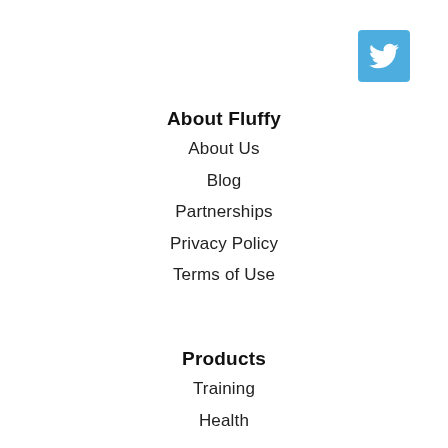[Figure (logo): Twitter bird icon in white on a blue rounded-square background, positioned top-right]
About Fluffy
About Us
Blog
Partnerships
Privacy Policy
Terms of Use
Products
Training
Health